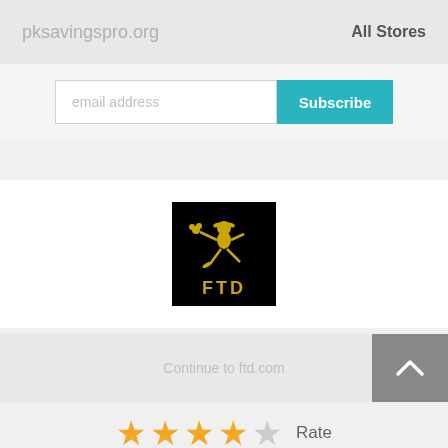pksavingspro.org   All Stores
email address
Subscribe
[Figure (logo): FTD logo — black square with gold Mercury/Hermes figure holding flowers, 'FTD' text in gold at bottom]
Continue to ftd.com
★★★★☆ Rate
4.4 / 541 Votes